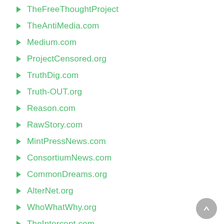TheFreeThoughtProject
TheAntiMedia.com
Medium.com
ProjectCensored.org
TruthDig.com
Truth-OUT.org
Reason.com
RawStory.com
MintPressNews.com
ConsortiumNews.com
CommonDreams.org
AlterNet.org
WhoWhatWhy.org
TheIntercept.com
CampaignForLiberty.org